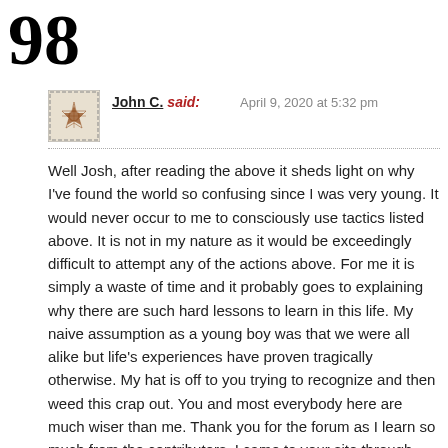98
John C. said:   April 9, 2020 at 5:32 pm
Well Josh, after reading the above it sheds light on why I've found the world so confusing since I was very young. It would never occur to me to consciously use tactics listed above. It is not in my nature as it would be exceedingly difficult to attempt any of the actions above. For me it is simply a waste of time and it probably goes to explaining why there are such hard lessons to learn in this life. My naive assumption as a young boy was that we were all alike but life's experiences have proven tragically otherwise. My hat is off to you trying to recognize and then weed this crap out. You and most everybody here are much wiser than me. Thank you for the forum as I learn so much from the contributors. I came to your site through Miles' site and don't regret it one bit.
Liked by 3 people